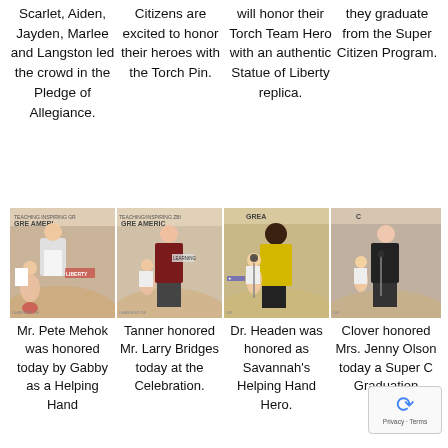Scarlet, Aiden, Jayden, Marlee and Langston led the crowd in the Pledge of Allegiance.
Citizens are excited to honor their heroes with the Torch Pin.
will honor their Torch Team Hero with an authentic Statue of Liberty replica.
they graduate from the Super Citizen Program.
[Figure (photo): Mr. Pete Mehok being honored at a Teaching Learning for Great America event in a gymnasium.]
[Figure (photo): Tanner honoring Mr. Larry Bridges at the Celebration event.]
[Figure (photo): Dr. Headen honored as Savannah's Helping Hand Hero.]
[Figure (photo): Clover honoring Mrs. Jenny Olson at a Super Citizen Graduation event.]
Mr. Pete Mehok was honored today by Gabby as a Helping Hand
Tanner honored Mr. Larry Bridges today at the Celebration.
Dr. Headen was honored as Savannah's Helping Hand Hero.
Clover honored Mrs. Jenny Olson today a Super C Graduation